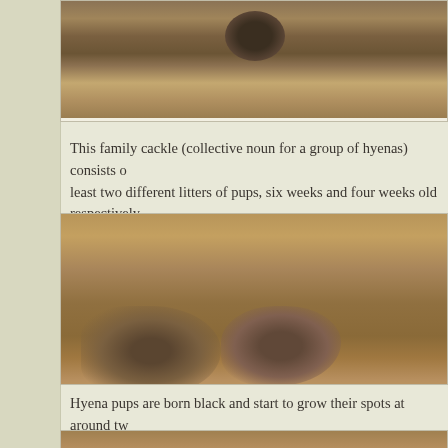[Figure (photo): Partial photo of hyena pups in dry grass, top of image showing burrow area]
This family cackle (collective noun for a group of hyenas) consists of at least two different litters of pups, six weeks and four weeks old respectively.
[Figure (photo): Group of spotted hyena pups lying in dry golden grass, looking toward camera]
Hyena pups are born black and start to grow their spots at around two weeks old.
[Figure (photo): Another photo of hyena pups, partially visible at bottom of page]